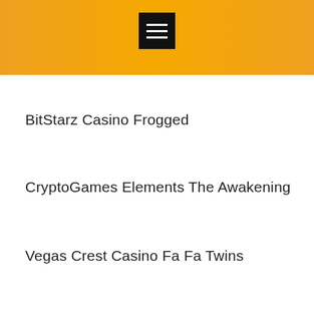[Figure (other): Orange gradient header bar with a black hamburger menu button icon centered at the top]
BitStarz Casino Frogged
CryptoGames Elements The Awakening
Vegas Crest Casino Fa Fa Twins
mBTC free bet Mayan Gold
King Billy Casino Duck of Luck Returns